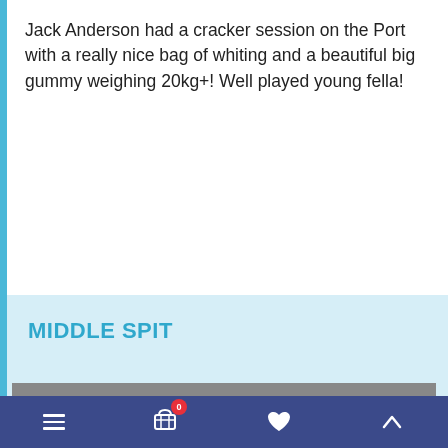Jack Anderson had a cracker session on the Port with a really nice bag of whiting and a beautiful big gummy weighing 20kg+! Well played young fella!
MIDDLE SPIT
[Figure (photo): Two men giving thumbs up behind a cleaning table displaying a large catch of whiting and a big gummy shark, taken at night outdoors near water.]
Navigation bar with hamburger menu, cart (0), heart/wishlist, and up/scroll icon